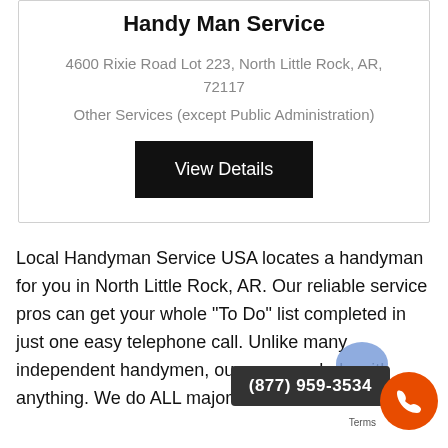Handy Man Service
4600 Rixie Road Lot 223, North Little Rock, AR, 72117
Other Services (except Public Administration)
View Details
Local Handyman Service USA locates a handyman for you in North Little Rock, AR. Our reliable service pros can get your whole “To Do” list completed in just one easy telephone call. Unlike many independent handymen, our pros can help with anything. We do ALL major and minor home re
(877) 959-3534